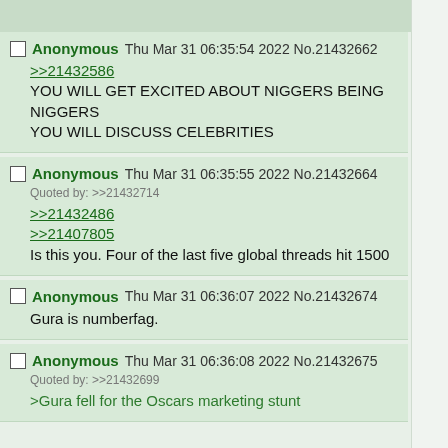Anonymous Thu Mar 31 06:35:54 2022 No.21432662
>>21432586
YOU WILL GET EXCITED ABOUT NIGGERS BEING NIGGERS
YOU WILL DISCUSS CELEBRITIES
Anonymous Thu Mar 31 06:35:55 2022 No.21432664
Quoted by: >>21432714
>>21432486
>>21407805
Is this you. Four of the last five global threads hit 1500
Anonymous Thu Mar 31 06:36:07 2022 No.21432674
Gura is numberfag.
Anonymous Thu Mar 31 06:36:08 2022 No.21432675
Quoted by: >>21432699
>Gura fell for the Oscars marketing stunt